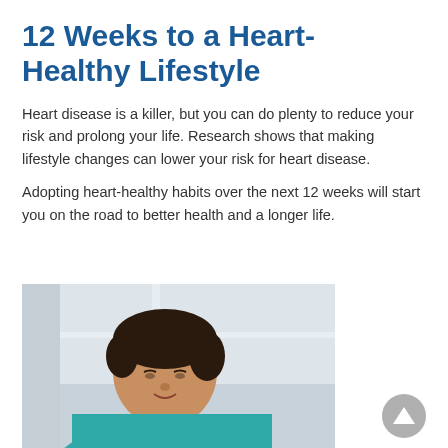12 Weeks to a Heart-Healthy Lifestyle
Heart disease is a killer, but you can do plenty to reduce your risk and prolong your life. Research shows that making lifestyle changes can lower your risk for heart disease.
Adopting heart-healthy habits over the next 12 weeks will start you on the road to better health and a longer life.
[Figure (photo): A woman with dark hair pulled back, wearing a teal top, looking downward, photographed indoors near a window]